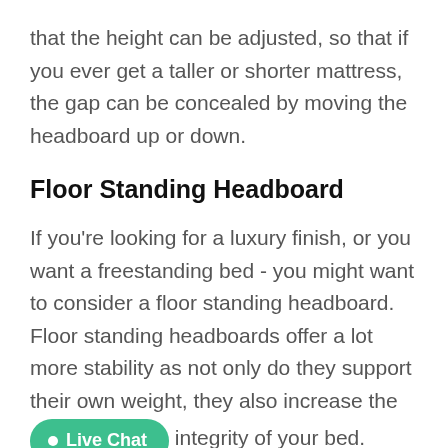that the height can be adjusted, so that if you ever get a taller or shorter mattress, the gap can be concealed by moving the headboard up or down.
Floor Standing Headboard
If you're looking for a luxury finish, or you want a freestanding bed - you might want to consider a floor standing headboard. Floor standing headboards offer a lot more stability as not only do they support their own weight, they also increase the integrity of your bed.